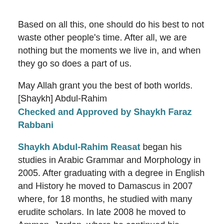Based on all this, one should do his best to not waste other people's time. After all, we are nothing but the moments we live in, and when they go so does a part of us.
May Allah grant you the best of both worlds.
[Shaykh] Abdul-Rahim
Checked and Approved by Shaykh Faraz Rabbani
Shaykh Abdul-Rahim Reasat began his studies in Arabic Grammar and Morphology in 2005. After graduating with a degree in English and History he moved to Damascus in 2007 where, for 18 months, he studied with many erudite scholars. In late 2008 he moved to Amman, Jordan, where he continued his studies for the next six years in Sacred Law (fiqh), legal theory (Usul al-fiqh), theology, hadith